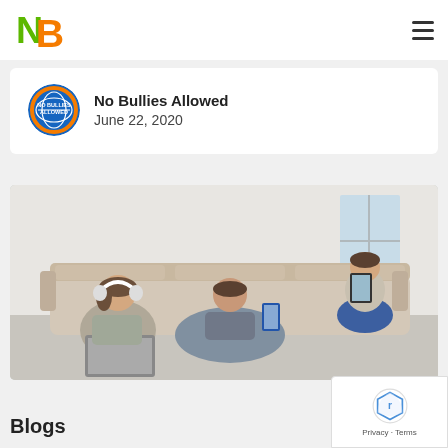[Figure (logo): NB logo with green N and orange B letters]
No Bullies Allowed
June 22, 2020
[Figure (photo): Family sitting on a couch each using a different device — girl with headphones on a laptop, man looking at a phone, teenager at the window with a tablet]
Blogs